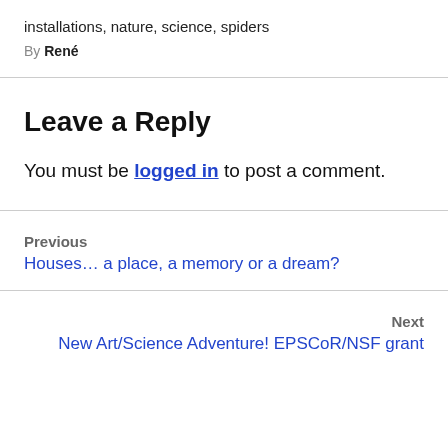installations, nature, science, spiders
By René
Leave a Reply
You must be logged in to post a comment.
Previous
Houses… a place, a memory or a dream?
Next
New Art/Science Adventure! EPSCoR/NSF grant